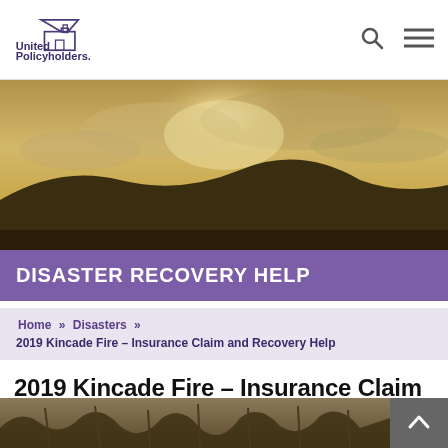[Figure (logo): United Policyholders logo with house icon and tagline 'Empowering the Insured']
[Figure (photo): Dramatic landscape photo with hills, sky and sunlight breaking through clouds]
DISASTER RECOVERY HELP
Home » Disasters » 2019 Kincade Fire – Insurance Claim and Recovery Help
2019 Kincade Fire – Insurance Claim and Recovery Help
[Figure (photo): Bottom partial photo showing fire/disaster scene]